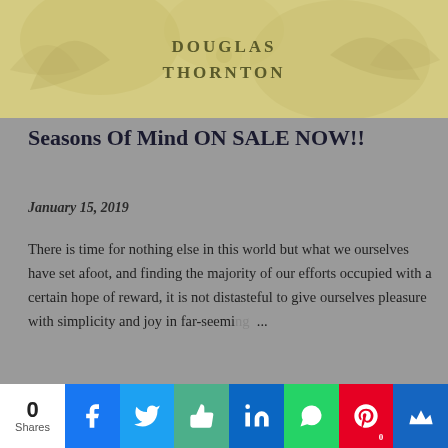[Figure (illustration): Blog header banner with olive/yellow-green background, floral botanical overlay, and centered text reading DOUGLAS THORNTON in spaced serif capitals]
Seasons Of Mind ON SALE NOW!!
January 15, 2019
There is time for nothing else in this world but what we ourselves have set afoot, and finding the majority of our efforts occupied with a certain hope of reward, it is not distasteful to give ourselves pleasure with simplicity and joy in far-seeming ...
SHARE  POST A COMMENT  READ MORE